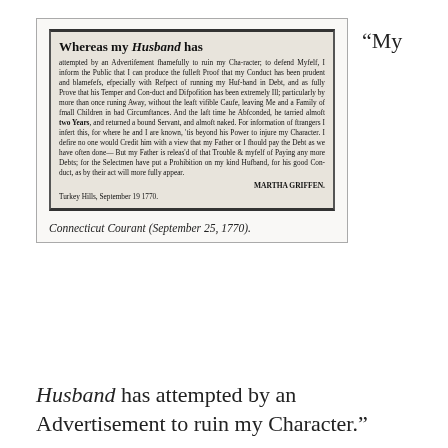[Figure (photo): Scanned newspaper advertisement from Connecticut Courant dated September 25, 1770, signed by Martha Griffen from Turkey Hills, September 19 1770. The ad begins 'Whereas my Husband has attempted by an Advertisement shamefully to ruin my Character...']
Connecticut Courant (September 25, 1770).
“My Husband has attempted by an Advertisement to ruin my Character.”